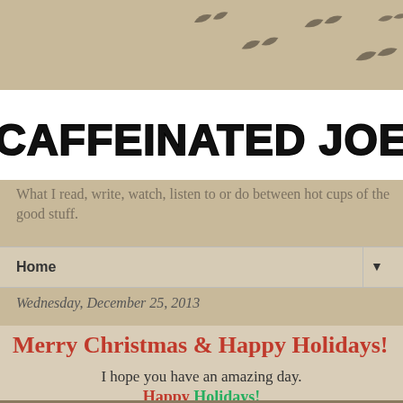[Figure (illustration): Beige/tan background with silhouettes of flying birds scattered across the upper portion]
CAFFEINATED JOE
What I read, write, watch, listen to or do between hot cups of the good stuff.
Home
Wednesday, December 25, 2013
Merry Christmas & Happy Holidays!
I hope you have an amazing day.
Happy Holidays!